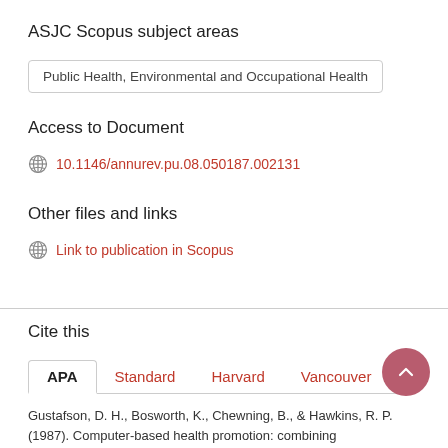ASJC Scopus subject areas
Public Health, Environmental and Occupational Health
Access to Document
10.1146/annurev.pu.08.050187.002131
Other files and links
Link to publication in Scopus
Cite this
APA Standard Harvard Vancouver ...
Gustafson, D. H., Bosworth, K., Chewning, B., & Hawkins, R. P. (1987). Computer-based health promotion: combining